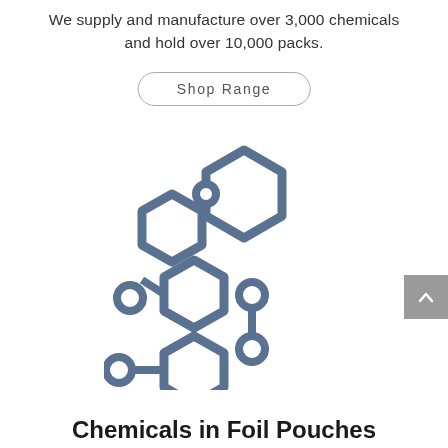We supply and manufacture over 3,000 chemicals and hold over 10,000 packs.
Shop Range
[Figure (illustration): Chemical molecule structure icon showing interconnected hexagonal rings and circular nodes, drawn in a blue-grey outline style]
Chemicals in Foil Pouches